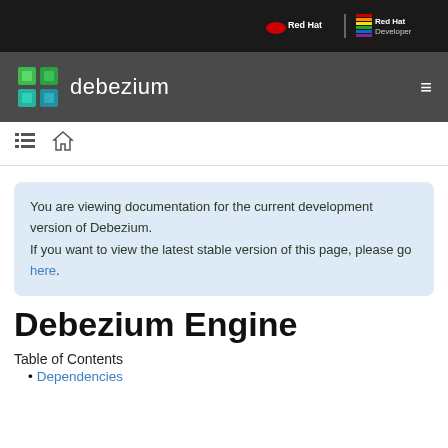Red Hat | Red Hat Developer
debezium
You are viewing documentation for the current development version of Debezium. If you want to view the latest stable version of this page, please go here.
Debezium Engine
Table of Contents
Dependencies